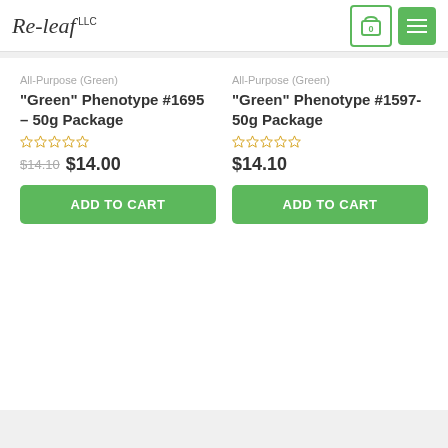Re-leaf LLC
All-Purpose (Green)
"Green" Phenotype #1695 – 50g Package
$14.10  $14.00
ADD TO CART
All-Purpose (Green)
"Green" Phenotype #1597- 50g Package
$14.10
ADD TO CART